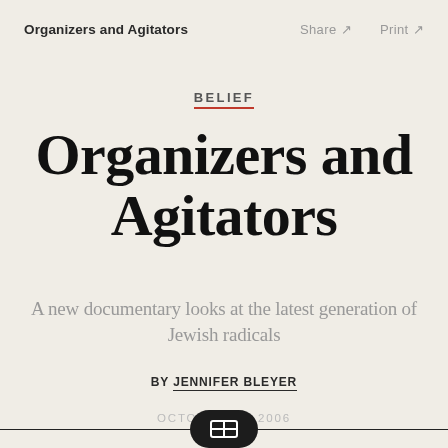Organizers and Agitators   Share ↗   Print ↗
BELIEF
Organizers and Agitators
A new documentary looks at the latest generation of Jewish radicals
BY JENNIFER BLEYER
OCTOBER 13, 2006